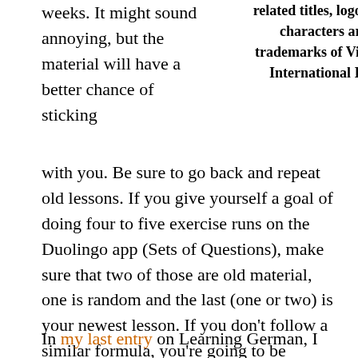weeks. It might sound annoying, but the material will have a better chance of sticking
related titles, logos and characters are trademarks of Viacom International Inc.
with you. Be sure to go back and repeat old lessons. If you give yourself a goal of doing four to five exercise runs on the Duolingo app (Sets of Questions), make sure that two of those are old material, one is random and the last (one or two) is your newest lesson. If you don't follow a similar formula, you're going to be spinning your wheels and end up frustrated.
In my last entry on Learning German, I spoke